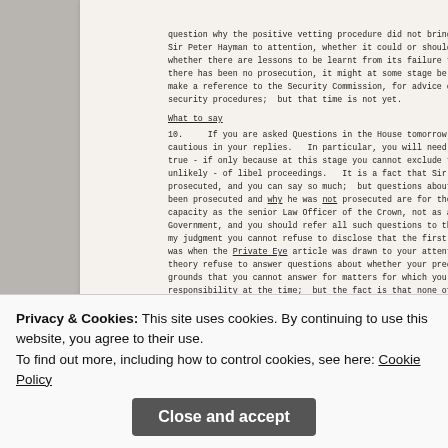question why the positive vetting procedure did not bring this character [to] Sir Peter Hayman to attention, whether it could or should have done so, [and] whether there are lessons to be learnt from its failure to do so.  Even [if] there has been no prosecution, it might at some stage be necessary or a[dvisable] make a reference to the Security Commission, for advice on the implic[ations for] security procedures;  but that time is not yet.
What to say
10.    If you are asked Questions in the House tomorrow, you will need [to be] cautious in your replies.  In particular, you will need not to say that [it is] true - if only because at this stage you cannot exclude the possibility - h[owever] unlikely - of libel proceedings.  It is a fact that Sir Peter Hayman has [not been] prosecuted, and you can say so much;  but questions about whether he c[ould have] been prosecuted and why he was not prosecuted are for the Attorney Ge[neral in his] capacity as the senior Law Officer of the Crown, not as a member of th[e] Government, and you should refer all such questions to the Attorney Ge[neral.  In] my judgment you cannot refuse to disclose that the first you heard of th[is affair] was when the Private Eye article was drawn to your attention.  You co[uld in] theory refuse to answer questions about whether your predecessor wa[s informed on] grounds that you cannot answer for matters for which you had no Minis[terial] responsibility at the time;  but the fact is that none of us - neither the [Home] Office, nor the Foreign and Commonwealth Office, nor the Security Se[rvice - knew] anything about the affair until the article was published, and I doubt wh[ether there] is any point in trying to conceal the fact.
11.   One difficult question is why nobody was told.   There is a ver[y difficult] balance to strike here;  though the Director of Public Prosecutions tak[es the view...]
Privacy & Cookies: This site uses cookies. By continuing to use this website, you agree to their use.
To find out more, including how to control cookies, see here: Cookie Policy